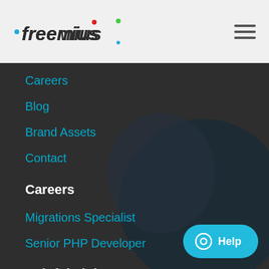[Figure (logo): Freemius logo in italic bold font with colored accent dots]
Careers
Blog
Brand Assets
Contact
Careers
Migrations Specialist
Senior PHP Developer
Helpful Links
FAQ